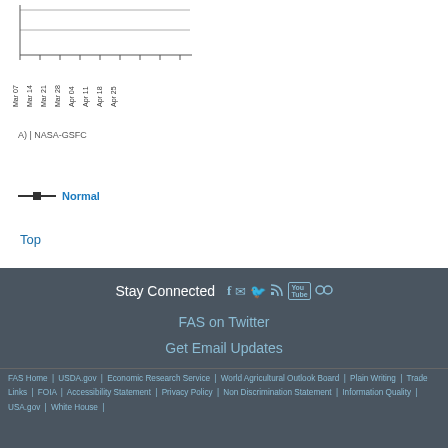[Figure (line-chart): Partial view of a line chart with x-axis date labels from Mar 07 to Apr 25, clipped at top of page]
A) | NASA-GSFC
[Figure (other): Legend showing a line symbol labeled 'Normal']
Top
Stay Connected
FAS on Twitter
Get Email Updates
FAS Home | USDA.gov | Economic Research Service | World Agricultural Outlook Board | Plain Writing | Trade Links | FOIA | Accessibility Statement | Privacy Policy | Non Discrimination Statement | Information Quality | USA.gov | White House |